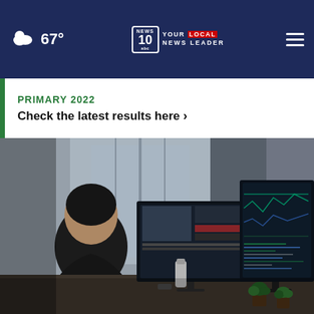67° NEWS10 YOUR LOCAL NEWS LEADER
PRIMARY 2022
Check the latest results here ›
[Figure (photo): Person sitting at a desk viewed from behind, working on multiple computer monitors showing code/data and a news website, in a modern office environment]